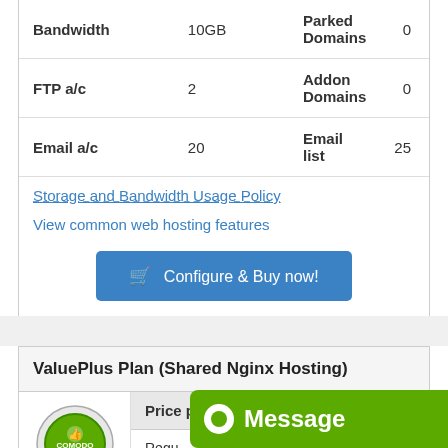| Feature | Value | Feature | Value |
| --- | --- | --- | --- |
| Bandwidth | 10GB | Parked Domains | 0 |
| FTP a/c | 2 | Addon Domains | 0 |
| Email a/c | 20 | Email list | 25 |
Storage and Bandwidth Usage Policy
View common web hosting features
Configure & Buy now!
ValuePlus Plan (Shared Nginx Hosting)
| Price per unit (Month) |
| --- |
| Regular |
| Price: Ultimate |
| You Save: 20.00% |